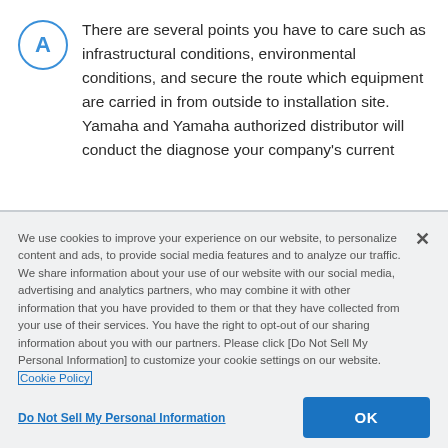There are several points you have to care such as infrastructural conditions, environmental conditions, and secure the route which equipment are carried in from outside to installation site. Yamaha and Yamaha authorized distributor will conduct the diagnose your company's current
We use cookies to improve your experience on our website, to personalize content and ads, to provide social media features and to analyze our traffic. We share information about your use of our website with our social media, advertising and analytics partners, who may combine it with other information that you have provided to them or that they have collected from your use of their services. You have the right to opt-out of our sharing information about you with our partners. Please click [Do Not Sell My Personal Information] to customize your cookie settings on our website. Cookie Policy
Do Not Sell My Personal Information
OK